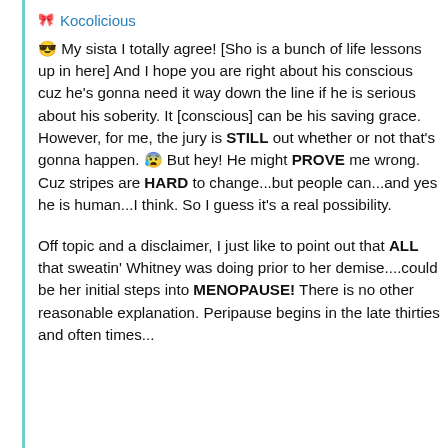Kocolicious
😎 My sista I totally agree! [Sho is a bunch of life lessons up in here]  And I hope you are right about his conscious cuz he's gonna need it way down the line if he is serious about his soberity.  It [conscious] can be his saving grace.  However, for me, the jury is STILL out whether or not that's gonna happen.  😰  But hey!  He might PROVE me wrong. Cuz stripes are HARD to change...but people can...and yes he is human...I think.  So I guess it's a real possibility.
Off topic and a disclaimer, I just like to point out that ALL that sweatin' Whitney was doing prior to her demise....could be her initial steps into MENOPAUSE!  There is no other reasonable explanation.  Peripause begins in the late thirties and often times...